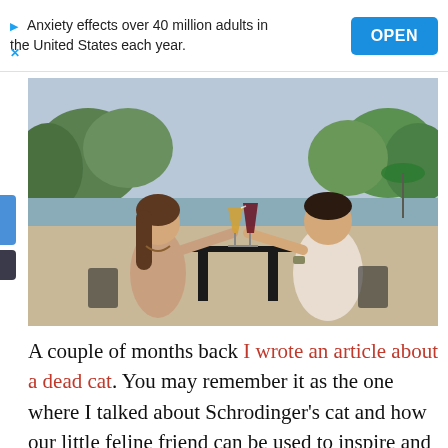Anxiety effects over 40 million adults in the United States each year. OPEN
[Figure (photo): A man and woman on a date at an outdoor restaurant table, clinking glasses of wine and beer, smiling at each other, with trees and water in the background.]
A couple of months back I wrote an article about a dead cat. You may remember it as the one where I talked about Schrodinger's cat and how our little feline friend can be used to inspire and push